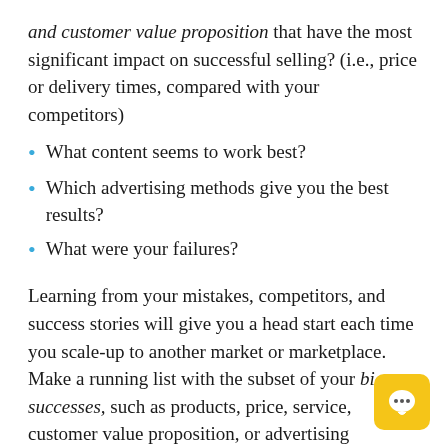and customer value proposition that have the most significant impact on successful selling? (i.e., price or delivery times, compared with your competitors)
What content seems to work best?
Which advertising methods give you the best results?
What were your failures?
Learning from your mistakes, competitors, and success stories will give you a head start each time you scale-up to another market or marketplace. Make a running list with the subset of your biggest successes, such as products, price, service, customer value proposition, or advertising successes. This will help you keep track of what works best.